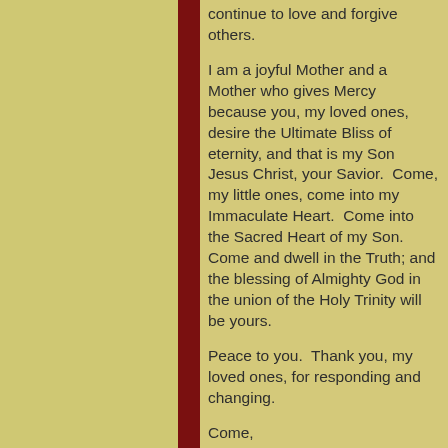continue to love and forgive others.
I am a joyful Mother and a Mother who gives Mercy because you, my loved ones, desire the Ultimate Bliss of eternity, and that is my Son Jesus Christ, your Savior.  Come, my little ones, come into my Immaculate Heart.  Come into the Sacred Heart of my Son.  Come and dwell in the Truth; and the blessing of Almighty God in the union of the Holy Trinity will be yours.
Peace to you.  Thank you, my loved ones, for responding and changing.
Come,